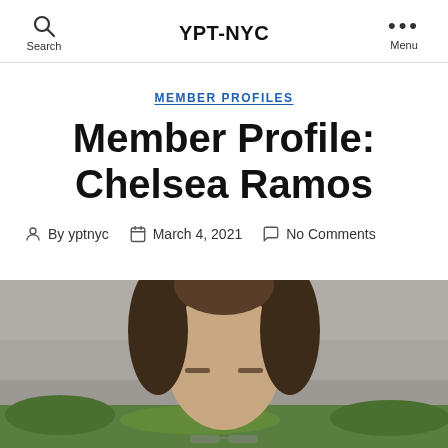YPT-NYC
MEMBER PROFILES
Member Profile: Chelsea Ramos
By yptnyc   March 4, 2021   No Comments
[Figure (photo): Portrait photo of Chelsea Ramos, a woman with dark hair, photographed outdoors with a blurred stone wall and greenery background.]